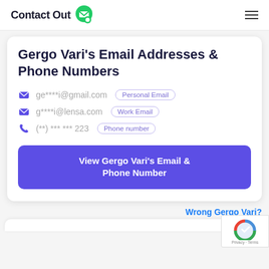ContactOut
Gergo Vari's Email Addresses & Phone Numbers
ge****i@gmail.com — Personal Email
g****i@lensa.com — Work Email
(**) *** *** 223 — Phone number
View Gergo Vari's Email & Phone Number
Wrong Gergo Vari?